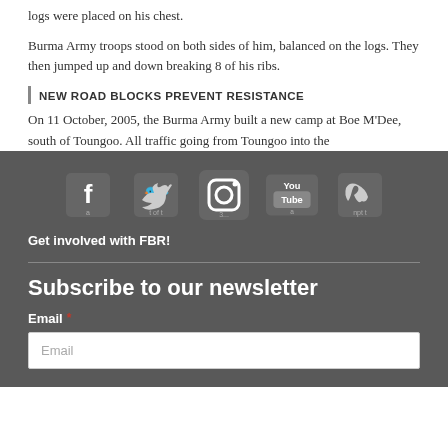logs were placed on his chest.
Burma Army troops stood on both sides of him, balanced on the logs. They then jumped up and down breaking 8 of his ribs.
NEW ROAD BLOCKS PREVENT RESISTANCE
On 11 October, 2005, the Burma Army built a new camp at Boe M'Dee, south of Toungoo. All traffic going from Toungoo into the
[Figure (logo): Social media icons row: Facebook, Twitter, Instagram, YouTube, Vimeo]
Get involved with FBR!
Subscribe to our newsletter
Email *
Email (input placeholder)